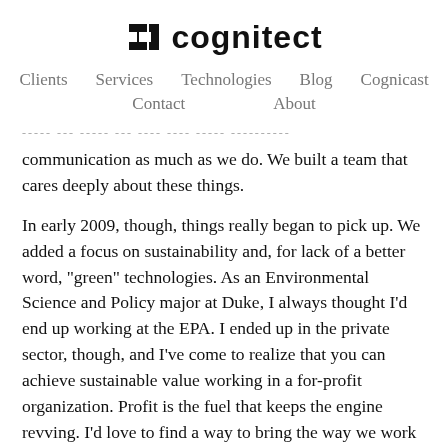cognitect
Clients   Services   Technologies   Blog   Cognicast   Contact   About
communication as much as we do. We built a team that cares deeply about these things.
In early 2009, though, things really began to pick up. We added a focus on sustainability and, for lack of a better word, "green" technologies. As an Environmental Science and Policy major at Duke, I always thought I'd end up working at the EPA. I ended up in the private sector, though, and I've come to realize that you can achieve sustainable value working in a for-profit organization. Profit is the fuel that keeps the engine revving. I'd love to find a way to bring the way we work back to organizations